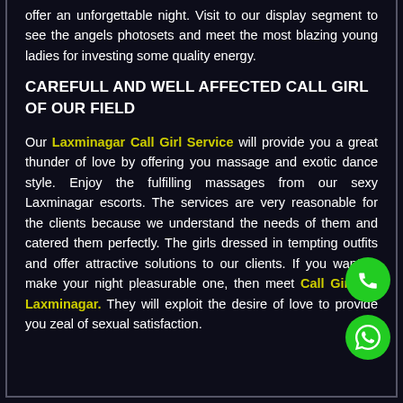offer an unforgettable night. Visit to our display segment to see the angels photosets and meet the most blazing young ladies for investing some quality energy.
CAREFULL AND WELL AFFECTED CALL GIRL OF OUR FIELD
Our Laxminagar Call Girl Service will provide you a great thunder of love by offering you massage and exotic dance style. Enjoy the fulfilling massages from our sexy Laxminagar escorts. The services are very reasonable for the clients because we understand the needs of them and catered them perfectly. The girls dressed in tempting outfits and offer attractive solutions to our clients. If you want to make your night pleasurable one, then meet Call Girls In Laxminagar. They will exploit the desire of love to provide you zeal of sexual satisfaction.